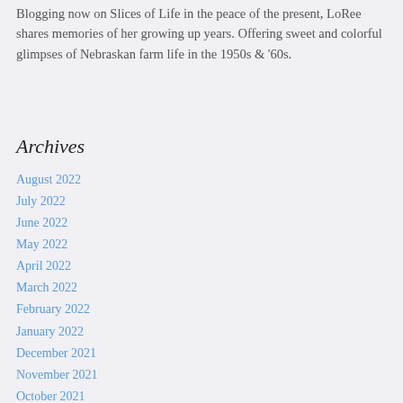Blogging now on Slices of Life in the peace of the present, LoRee shares memories of her growing up years. Offering sweet and colorful glimpses of Nebraskan farm life in the 1950s & '60s.
Archives
August 2022
July 2022
June 2022
May 2022
April 2022
March 2022
February 2022
January 2022
December 2021
November 2021
October 2021
September 2021